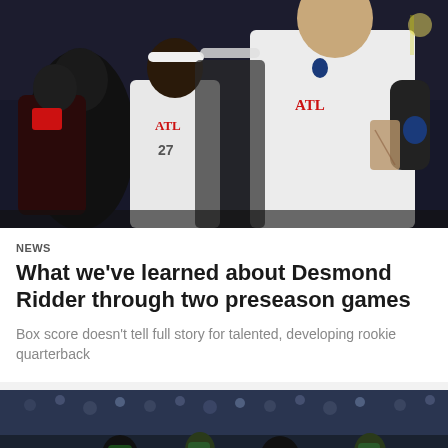[Figure (photo): Atlanta Falcons players in white ATL jerseys running on the field at night, with a quarterback in focus in the foreground]
NEWS
What we've learned about Desmond Ridder through two preseason games
Box score doesn't tell full story for talented, developing rookie quarterback
[Figure (photo): Wide shot of a stadium crowd at night during an NFL game]
[Figure (other): Social share icons: Facebook, Twitter, Email, Link]